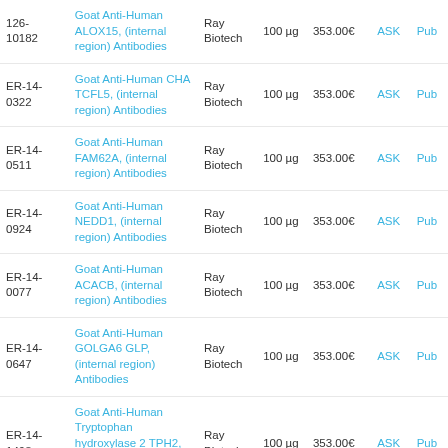| ID | Product | Supplier | Qty | Price | ASK | Pub |
| --- | --- | --- | --- | --- | --- | --- |
| 126-10182 | Goat Anti-Human ALOX15, (internal region) Antibodies | Ray Biotech | 100 µg | 353.00€ | ASK | Pub |
| ER-14-0322 | Goat Anti-Human CHA TCFL5, (internal region) Antibodies | Ray Biotech | 100 µg | 353.00€ | ASK | Pub |
| ER-14-0511 | Goat Anti-Human FAM62A, (internal region) Antibodies | Ray Biotech | 100 µg | 353.00€ | ASK | Pub |
| ER-14-0924 | Goat Anti-Human NEDD1, (internal region) Antibodies | Ray Biotech | 100 µg | 353.00€ | ASK | Pub |
| ER-14-0077 | Goat Anti-Human ACACB, (internal region) Antibodies | Ray Biotech | 100 µg | 353.00€ | ASK | Pub |
| ER-14-0647 | Goat Anti-Human GOLGA6 GLP, (internal region) Antibodies | Ray Biotech | 100 µg | 353.00€ | ASK | Pub |
| ER-14-1498 | Goat Anti-Human Tryptophan hydroxylase 2 TPH2, (internal region) Antibodies | Ray Biotech | 100 µg | 353.00€ | ASK | Pub |
| ER-14- | Goat Anti-Human Sterol carrier | Ray | 100 µg | 353.00€ | ASK | Pub |